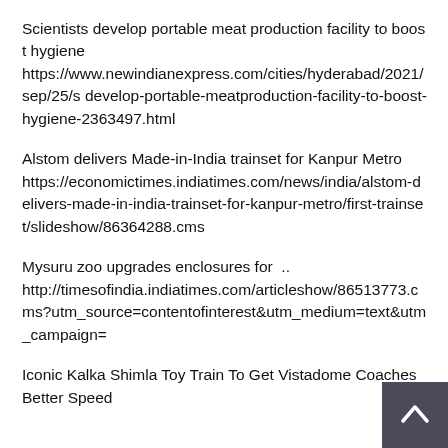Scientists develop portable meat production facility to boost hygiene https://www.newindianexpress.com/cities/hyderabad/2021/sep/25/s develop-portable-meatproduction-facility-to-boost-hygiene-2363497.html
Alstom delivers Made-in-India trainset for Kanpur Metro https://economictimes.indiatimes.com/news/india/alstom-delivers-made-in-india-trainset-for-kanpur-metro/first-trainset/slideshow/86364288.cms
Mysuru zoo upgrades enclosures for  .. http://timesofindia.indiatimes.com/articleshow/86513773.cms?utm_source=contentofinterest&utm_medium=text&utm_campaign=
Iconic Kalka Shimla Toy Train To Get Vistadome Coaches Better Speed